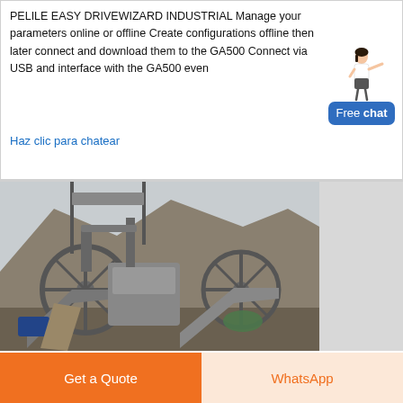PELILE EASY DRIVEWIZARD INDUSTRIAL Manage your parameters online or offline Create configurations offline then later connect and download them to the GA500 Connect via USB and interface with the GA500 even
Haz clic para chatear
[Figure (illustration): Chat widget with cartoon female customer support representative pointing, and a blue button labeled 'Free chat']
[Figure (photo): Industrial mining/crushing machinery with large wheel mechanisms, conveyor belts, and rocky hillside in background]
Get a Quote
WhatsApp